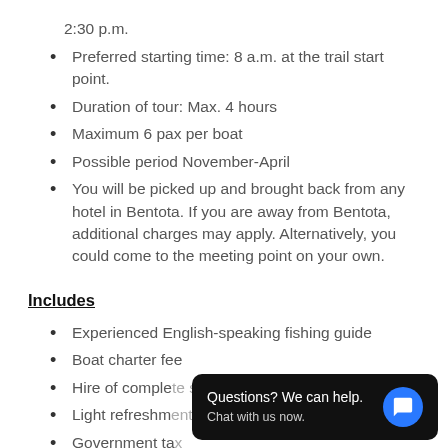2:30 p.m.
Preferred starting time: 8 a.m. at the trail start point.
Duration of tour: Max. 4 hours
Maximum 6 pax per boat
Possible period November-April
You will be picked up and brought back from any hotel in Bentota. If you are away from Bentota, additional charges may apply. Alternatively, you could come to the meeting point on your own.
Includes
Experienced English-speaking fishing guide
Boat charter fee
Hire of complete sport fishing equipment
Light refreshments
Government tax